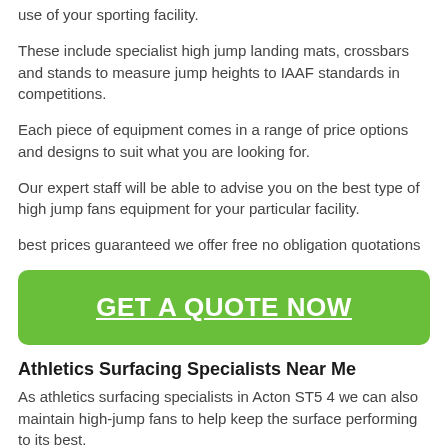use of your sporting facility.
These include specialist high jump landing mats, crossbars and stands to measure jump heights to IAAF standards in competitions.
Each piece of equipment comes in a range of price options and designs to suit what you are looking for.
Our expert staff will be able to advise you on the best type of high jump fans equipment for your particular facility.
best prices guaranteed we offer free no obligation quotations
[Figure (other): Green rounded rectangle button with bold white underlined text: GET A QUOTE NOW]
Athletics Surfacing Specialists Near Me
As athletics surfacing specialists in Acton ST5 4 we can also maintain high-jump fans to help keep the surface performing to its best.
These services could include drag brushing and redistribution of